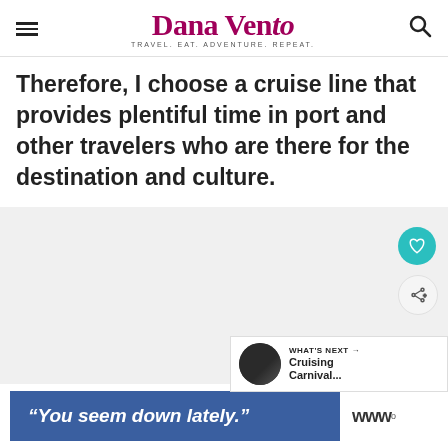Dana Vento — TRAVEL. EAT. ADVENTURE. REPEAT.
Therefore, I choose a cruise line that provides plentiful time in port and other travelers who are there for the destination and culture.
[Figure (photo): Image placeholder area (photo content not visible), with floating heart/like button in teal and share button in light gray, plus a 'What's Next' widget showing Cruising Carnival... article]
[Figure (screenshot): Advertisement banner: blue rectangle with text '"You seem down lately."' in white bold italic, followed by a logo mark (www with superscript circle)]